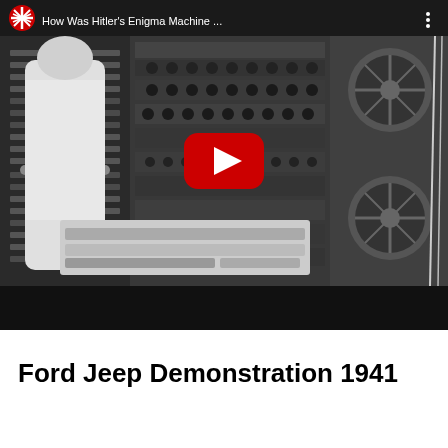[Figure (screenshot): YouTube video thumbnail showing a black and white photograph of a person operating large computing/codebreaking machinery (resembling the Bombe codebreaking machine). The video title bar at top reads 'How Was Hitler's Enigma Machine ...' with a YouTube logo (red circle with white starburst) and three-dots menu icon. A red YouTube play button is centered on the image. A black progress bar area appears at the bottom of the video player.]
Ford Jeep Demonstration 1941